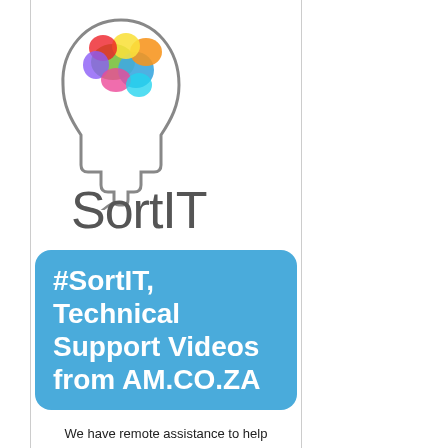[Figure (logo): SortIT logo: a human head outline with colorful brain and a computer mouse cord, next to the text 'SortIT' in gray]
[Figure (infographic): Blue rounded rectangle banner with white bold text: #SortIT, Technical Support Videos from AM.CO.ZA]
We have remote assistance to help you solve all your computer related problems, visit